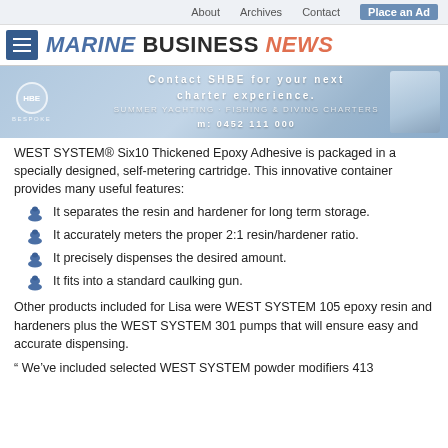About   Archives   Contact   Place an Ad
[Figure (logo): Marine Business News website header with hamburger menu icon and site logo]
[Figure (photo): SHBE charter advertisement banner: Contact SHBE for your next charter experience. m: 0452 111 000]
WEST SYSTEM® Six10 Thickened Epoxy Adhesive is packaged in a specially designed, self-metering cartridge. This innovative container provides many useful features:
It separates the resin and hardener for long term storage.
It accurately meters the proper 2:1 resin/hardener ratio.
It precisely dispenses the desired amount.
It fits into a standard caulking gun.
Other products included for Lisa were WEST SYSTEM 105 epoxy resin and hardeners plus the WEST SYSTEM 301 pumps that will ensure easy and accurate dispensing.
" We've included selected WEST SYSTEM powder modifiers 413